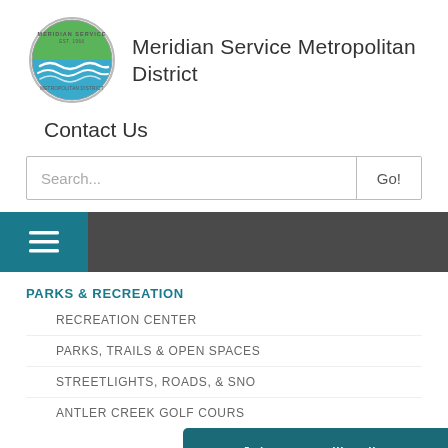[Figure (logo): Meridian Service Metropolitan District oval logo with green and blue wave design and text EST. 1966]
Meridian Service Metropolitan District
Contact Us
Search...
Go!
PARKS & RECREATION
RECREATION CENTER
PARKS, TRAILS & OPEN SPACES
STREETLIGHTS, ROADS, & SNO
ANTLER CREEK GOLF COURS
Join our mailing list